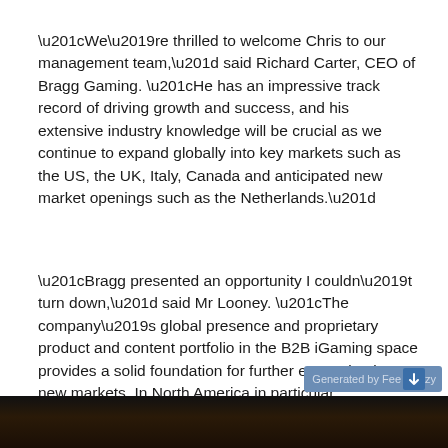“We’re thrilled to welcome Chris to our management team,” said Richard Carter, CEO of Bragg Gaming. “He has an impressive track record of driving growth and success, and his extensive industry knowledge will be crucial as we continue to expand globally into key markets such as the US, the UK, Italy, Canada and anticipated new market openings such as the Netherlands.”
“Bragg presented an opportunity I couldn’t turn down,” said Mr Looney. “The company’s global presence and proprietary product and content portfolio in the B2B iGaming space provides a solid foundation for further expansion into new markets. In North America in particular, jurisdictions continue to evolve, regulate and open up. Bragg is well positioned to succeed these markets and I’m excited to be part of the game plan.”
[Figure (photo): Dark image strip at the bottom of the page, appears to show a dimly lit scene, possibly a gaming venue.]